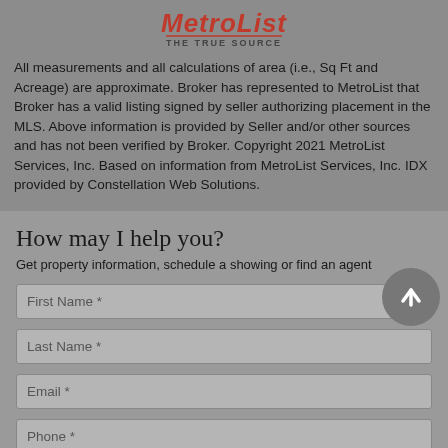[Figure (logo): MetroList THE TRUE SOURCE logo in red and dark red with underline]
All measurements and all calculations of area (i.e., Sq Ft and Acreage) are approximate. Broker has represented to MetroList that Broker has a valid listing signed by seller authorizing placement in the MLS. Above information is provided by Seller and/or other sources and has not been verified by Broker. Copyright 2021 MetroList Services, Inc. Based on information from MetroList Services, Inc. IDX provided by Constellation Web Solutions.
How may I help you?
Get property information, schedule a showing or find an agent
First Name *
Last Name *
Email *
Phone *